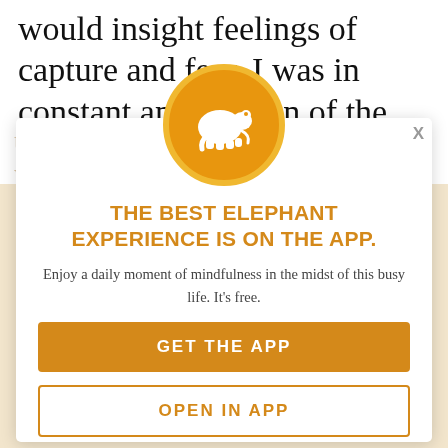would insight feelings of capture and fear. I was in constant anticipation of the next time, but had no control over when they would come or last.
[Figure (screenshot): Mobile app interstitial/popup overlay for the Elephant Journal app, featuring an orange elephant logo icon in a gold circle, a headline 'THE BEST ELEPHANT EXPERIENCE IS ON THE APP.', a subtitle 'Enjoy a daily moment of mindfulness in the midst of this busy life. It's free.', a filled orange 'GET THE APP' button, and an outlined 'OPEN IN APP' button. Behind the modal is faded background article text.]
THE BEST ELEPHANT EXPERIENCE IS ON THE APP.
Enjoy a daily moment of mindfulness in the midst of this busy life. It's free.